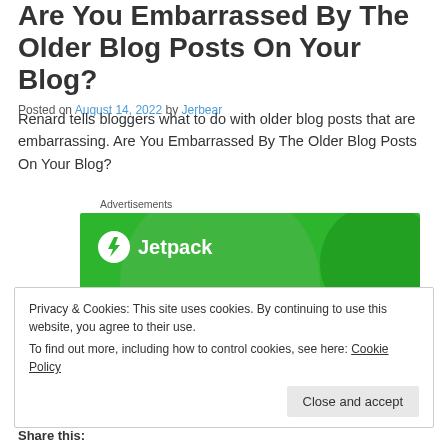Are You Embarrassed By The Older Blog Posts On Your Blog?
Posted on August 14, 2022 by Jerbear
Renard tells bloggers what to do with older blog posts that are embarrassing. Are You Embarrassed By The Older Blog Posts On Your Blog?
Advertisements
[Figure (illustration): Jetpack advertisement banner with green background, circular design elements, Jetpack logo with lightning bolt icon, and tagline 'We guard your WordPress site']
Privacy & Cookies: This site uses cookies. By continuing to use this website, you agree to their use.
To find out more, including how to control cookies, see here: Cookie Policy
Share this: